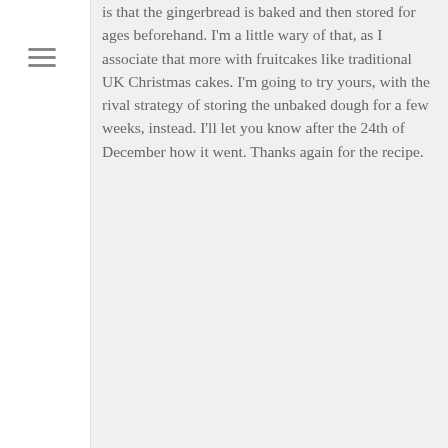is that the gingerbread is baked and then stored for ages beforehand. I'm a little wary of that, as I associate that more with fruitcakes like traditional UK Christmas cakes. I'm going to try yours, with the rival strategy of storing the unbaked dough for a few weeks, instead. I'll let you know after the 24th of December how it went. Thanks again for the recipe.
10
[Figure (photo): Profile photo of Magda - woman with short brown hair, smiling]
Magda on Nov 13, 2014 at 12:50 pm
Oh wow. Good luck David. That's a nice challenge. Gingerbread stores really well,